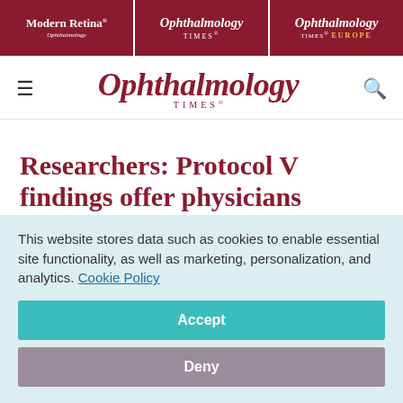Modern Retina | Ophthalmology Times | Ophthalmology Times Europe
[Figure (logo): Ophthalmology Times main logo with hamburger menu and search icon]
Researchers: Protocol V findings offer physicians guidance for managing DME
September 9, 2020
This website stores data such as cookies to enable essential site functionality, as well as marketing, personalization, and analytics. Cookie Policy
Accept
Deny